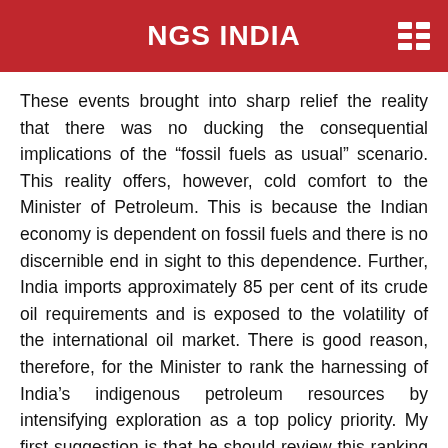NGS INDIA
These events brought into sharp relief the reality that there was no ducking the consequential implications of the “fossil fuels as usual” scenario. This reality offers, however, cold comfort to the Minister of Petroleum. This is because the Indian economy is dependent on fossil fuels and there is no discernible end in sight to this dependence. Further, India imports approximately 85 per cent of its crude oil requirements and is exposed to the volatility of the international oil market. There is good reason, therefore, for the Minister to rank the harnessing of India’s indigenous petroleum resources by intensifying exploration as a top policy priority. My first suggestion is that he should review this ranking and that the government should scale back its emphasis on domestic exploration. I make this suggestion because I believe the resources earmarked for exploration can be deployed more productively elsewhere. A review of the public sector’s exploration and production (EP) track record suggests that whilst India may well be sitting on substantial hydrocarbon reserves, as is claimed by our petroleum scientists, these reserves are not easy to locate and, even when located, difficult to develop and produce on a